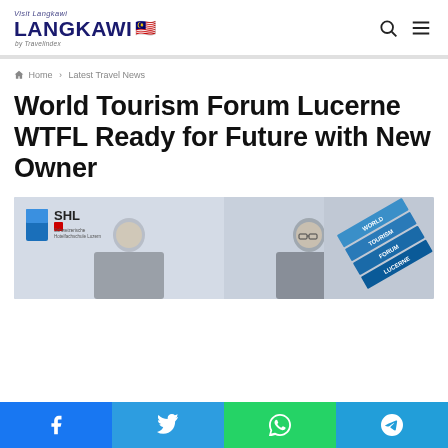Visit Langkawi LANGKAWI by Travelindex
Home > Latest Travel News
World Tourism Forum Lucerne WTFL Ready for Future with New Owner
[Figure (photo): Two men posing in front of SHL (Schweizerische Hotelfachschule Luzern) and World Tourism Forum Lucerne banners]
Facebook Twitter WhatsApp Telegram